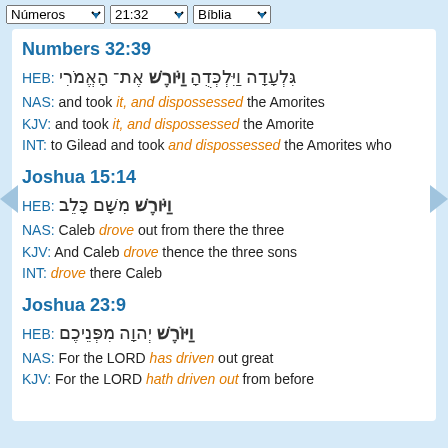Números 21:32 | Bíblia
Numbers 32:39
HEB: גִּלְעָדָה וַיִּלְכְּדֻהָ וַיּוֹרֶשׁ אֶת־ הָאֱמֹרִי
NAS: and took it, and dispossessed the Amorites
KJV: and took it, and dispossessed the Amorite
INT: to Gilead and took and dispossessed the Amorites who
Joshua 15:14
HEB: וַיֹּרֶשׁ מִשָּׁם כָּלֵב
NAS: Caleb drove out from there the three
KJV: And Caleb drove thence the three sons
INT: drove there Caleb
Joshua 23:9
HEB: וַיּוֹרֶשׁ יְהוָה מִפְּנֵיכֶם
NAS: For the LORD has driven out great
KJV: For the LORD hath driven out from before